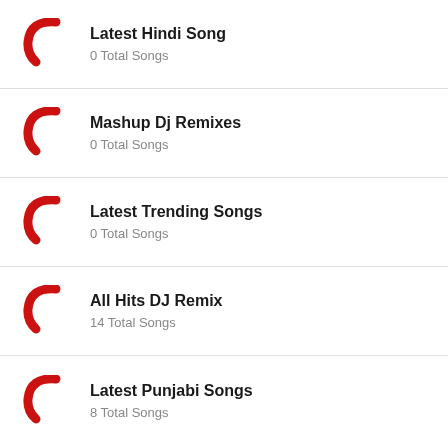Latest Hindi Song
0 Total Songs
Mashup Dj Remixes
0 Total Songs
Latest Trending Songs
0 Total Songs
All Hits DJ Remix
14 Total Songs
Latest Punjabi Songs
8 Total Songs